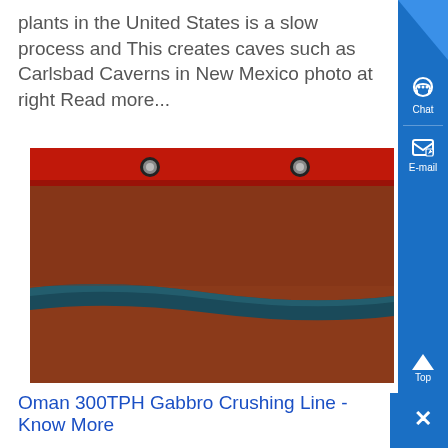plants in the United States is a slow process and This creates caves such as Carlsbad Caverns in New Mexico photo at right Read more...
[Figure (photo): Close-up photo showing a red surface with silver bolt heads at top and a dark blue/teal horizontal stripe or seam across a rust-red textured surface]
Oman 300TPH Gabbro Crushing Line - Know More